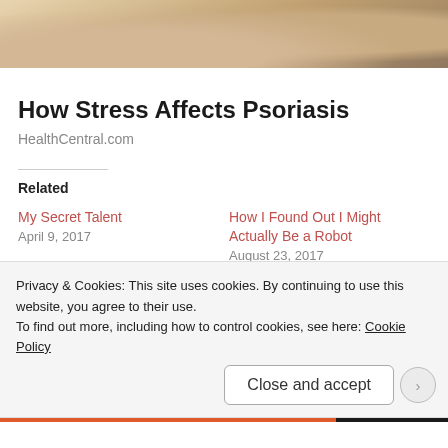[Figure (photo): Top portion of a photo, partially cropped, showing a person with yellow/gold item, muted earthy tones]
How Stress Affects Psoriasis
HealthCentral.com
Related
My Secret Talent
April 9, 2017
How I Found Out I Might Actually Be a Robot
August 23, 2017
Why You Haven't Heard From Me and What I Made For Dinner Last Night
Privacy & Cookies: This site uses cookies. By continuing to use this website, you agree to their use.
To find out more, including how to control cookies, see here: Cookie Policy
Close and accept